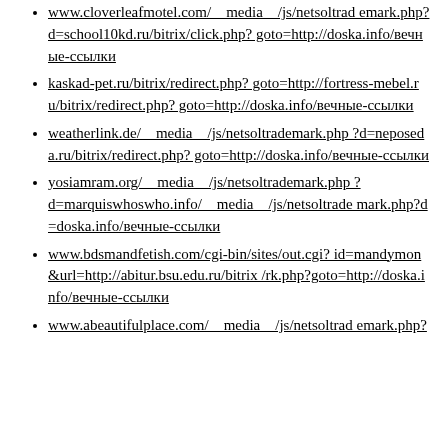www.cloverleafmotel.com/__media__/js/netsoltrademark.php?d=school10kd.ru/bitrix/click.php?goto=http://doska.info/вечные-ссылки
kaskad-pet.ru/bitrix/redirect.php?goto=http://fortress-mebel.ru/bitrix/redirect.php?goto=http://doska.info/вечные-ссылки
weatherlink.de/__media__/js/netsoltrademark.php?d=neposeda.ru/bitrix/redirect.php?goto=http://doska.info/вечные-ссылки
yosiamram.org/__media__/js/netsoltrademark.php?d=marquiswhoswho.info/__media__/js/netsoltrademark.php?d=doska.info/вечные-ссылки
www.bdsmandfetish.com/cgi-bin/sites/out.cgi?id=mandymon&url=http://abitur.bsu.edu.ru/bitrix/rk.php?goto=http://doska.info/вечные-ссылки
www.abeautifulplace.com/__media__/js/netsoltrademark.php?